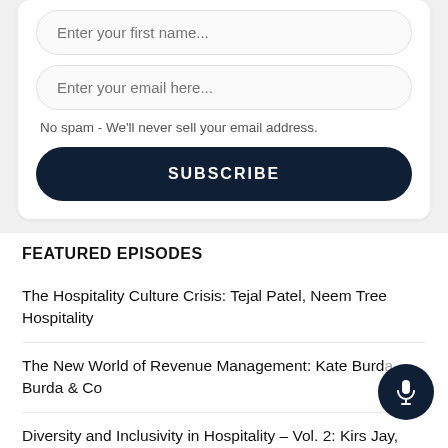[Figure (screenshot): Input field with placeholder text 'Enter your first name...']
[Figure (screenshot): Input field with placeholder text 'Enter your email here...']
No spam - We'll never sell your email address.
SUBSCRIBE
FEATURED EPISODES
The Hospitality Culture Crisis: Tejal Patel, Neem Tree Hospitality
The New World of Revenue Management: Kate Burda, Burda & Co
Diversity and Inclusivity in Hospitality – Vol. 2: Kirs Jay, Hotel